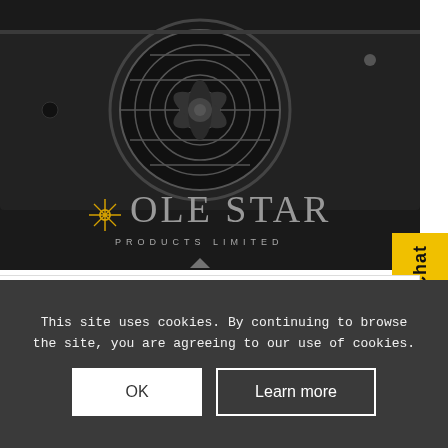[Figure (photo): Black industrial axial fan mounted on a black metal plate, viewed from above at an angle. Pole Star Products Limited logo overlaid on the image.]
PMA1-300S6-1A
£108.63 ex VAT
Chat
This site uses cookies. By continuing to browse the site, you are agreeing to our use of cookies.
OK
Learn more